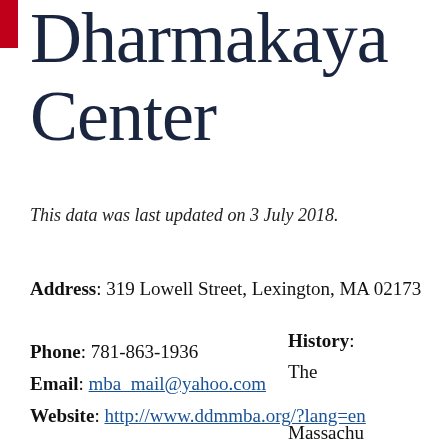Dharmakaya Center
This data was last updated on 3 July 2018.
Address: 319 Lowell Street, Lexington, MA 02173
Phone: 781-863-1936
Email: mba_mail@yahoo.com
Website: http://www.ddmmba.org/?lang=en
History: The Massachu